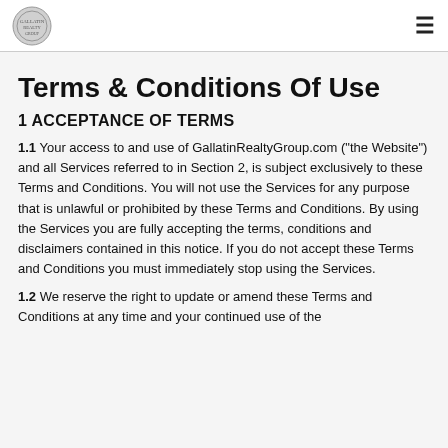[Logo] [Hamburger menu]
Terms & Conditions Of Use
1 ACCEPTANCE OF TERMS
1.1 Your access to and use of GallatinRealtyGroup.com ("the Website") and all Services referred to in Section 2, is subject exclusively to these Terms and Conditions. You will not use the Services for any purpose that is unlawful or prohibited by these Terms and Conditions. By using the Services you are fully accepting the terms, conditions and disclaimers contained in this notice. If you do not accept these Terms and Conditions you must immediately stop using the Services.
1.2 We reserve the right to update or amend these Terms and Conditions at any time and your continued use of the